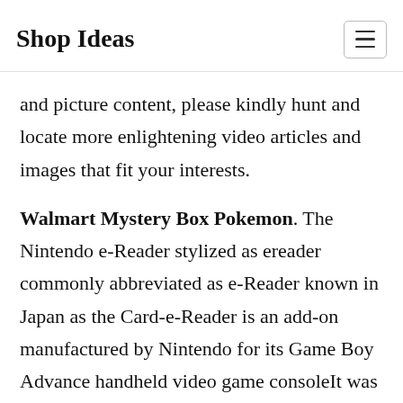Shop Ideas
and picture content, please kindly hunt and locate more enlightening video articles and images that fit your interests.
Walmart Mystery Box Pokemon. The Nintendo e-Reader stylized as ereader commonly abbreviated as e-Reader known in Japan as the Card-e-Reader is an add-on manufactured by Nintendo for its Game Boy Advance handheld video game consoleIt was released in Japan in December 2001